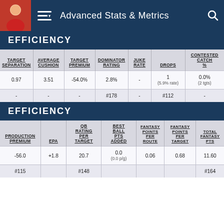Advanced Stats & Metrics
EFFICIENCY
| TARGET SEPARATION | AVERAGE CUSHION | TARGET PREMIUM | DOMINATOR RATING | JUKE RATE | DROPS | CONTESTED CATCH % |
| --- | --- | --- | --- | --- | --- | --- |
| 0.97 | 3.51 | -54.0% | 2.8% | - | 1
(5.9% rate) | 0.0%
(2 tgts) |
| - | - | - | #178 | - | #112 | - |
EFFICIENCY
| PRODUCTION PREMIUM | EPA | QB RATING PER TARGET | BEST BALL PTS ADDED | FANTASY POINTS PER ROUTE | FANTASY POINTS PER TARGET | TOTAL FANTASY PTS |
| --- | --- | --- | --- | --- | --- | --- |
| -56.0 | +1.8 | 20.7 | 0.0
(0.0 p/g) | 0.06 | 0.68 | 11.60 |
| #115 |  | #148 |  |  |  | #164 |